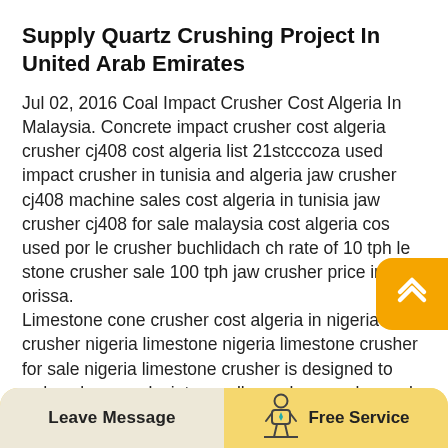Supply Quartz Crushing Project In United Arab Emirates
Jul 02, 2016 Coal Impact Crusher Cost Algeria In Malaysia. Concrete impact crusher cost algeria crusher cj408 cost algeria list 21stcccoza used impact crusher in tunisia and algeria jaw crusher cj408 machine sales cost algeria in tunisia jaw crusher cj408 for sale malaysia cost algeria cos used por le crusher buchlidach ch rate of 10 tph le stone crusher sale 100 tph jaw crusher price in orissa.
Limestone cone crusher cost algeria in nigeria crusher nigeria limestone nigeria limestone crusher for sale nigeria limestone crusher is designed to reduce large rocks into smaller rocks gravel or rock
[Figure (illustration): Yellow rounded square back-to-top button with white upward chevron/hat icon]
Leave Message   Free Service